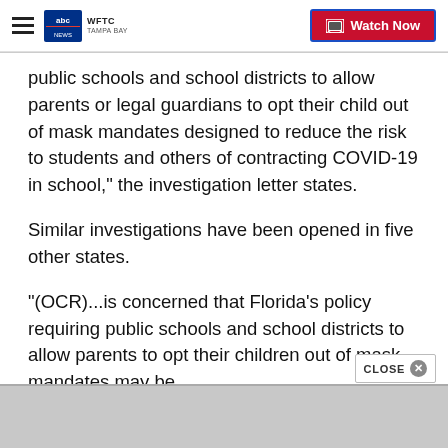WFTC TAMPA BAY | Watch Now
public schools and school districts to allow parents or legal guardians to opt their child out of mask mandates designed to reduce the risk to students and others of contracting COVID-19 in school," the investigation letter states.
Similar investigations have been opened in five other states.
"(OCR)...is concerned that Florida’s policy requiring public schools and school districts to allow parents to opt their children out of mask mandates may be